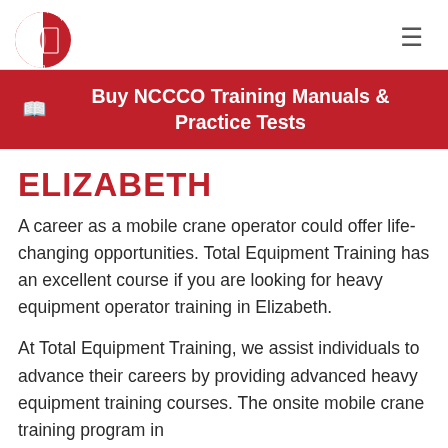[Figure (logo): Total Equipment Training circular logo with red and white design]
Buy NCCCO Training Manuals & Practice Tests
ELIZABETH
A career as a mobile crane operator could offer life-changing opportunities. Total Equipment Training has an excellent course if you are looking for heavy equipment operator training in Elizabeth.
At Total Equipment Training, we assist individuals to advance their careers by providing advanced heavy equipment training courses. The onsite mobile crane training program in